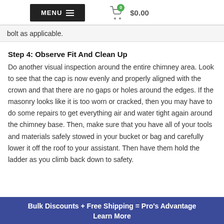MENU  $0.00
bolt as applicable.
Step 4: Observe Fit And Clean Up
Do another visual inspection around the entire chimney area. Look to see that the cap is now evenly and properly aligned with the crown and that there are no gaps or holes around the edges. If the masonry looks like it is too worn or cracked, then you may have to do some repairs to get everything air and water tight again around the chimney base. Then, make sure that you have all of your tools and materials safely stowed in your bucket or bag and carefully lower it off the roof to your assistant. Then have them hold the ladder as you climb back down to safety.
Bulk Discounts + Free Shipping = Pro's Advantage
Learn More